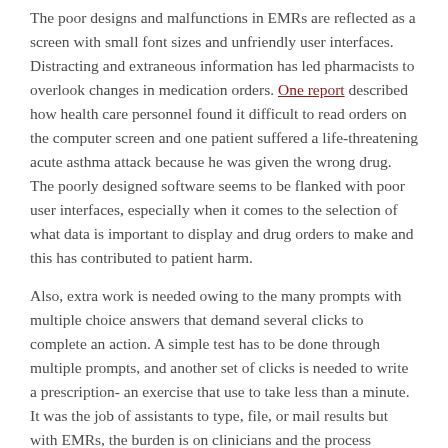The poor designs and malfunctions in EMRs are reflected as a screen with small font sizes and unfriendly user interfaces. Distracting and extraneous information has led pharmacists to overlook changes in medication orders. One report described how health care personnel found it difficult to read orders on the computer screen and one patient suffered a life-threatening acute asthma attack because he was given the wrong drug. The poorly designed software seems to be flanked with poor user interfaces, especially when it comes to the selection of what data is important to display and drug orders to make and this has contributed to patient harm.
Also, extra work is needed owing to the many prompts with multiple choice answers that demand several clicks to complete an action. A simple test has to be done through multiple prompts, and another set of clicks is needed to write a prescription- an exercise that use to take less than a minute. It was the job of assistants to type, file, or mail results but with EMRs, the burden is on clinicians and the process...